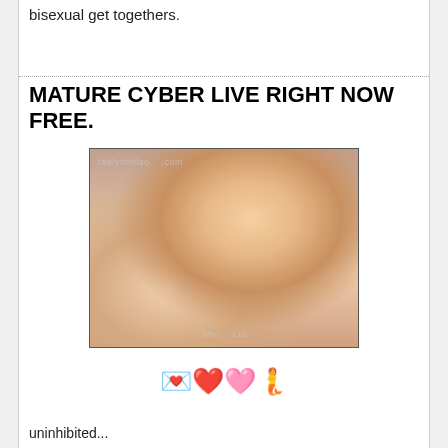bisexual get togethers.
MATURE CYBER LIVE RIGHT NOW FREE.
[Figure (photo): Photo of a person lying down, with watermark text 'raelynnelso...com' at top left and 'who ... to' at bottom]
💌❤️🩷🧜
uninhibited...